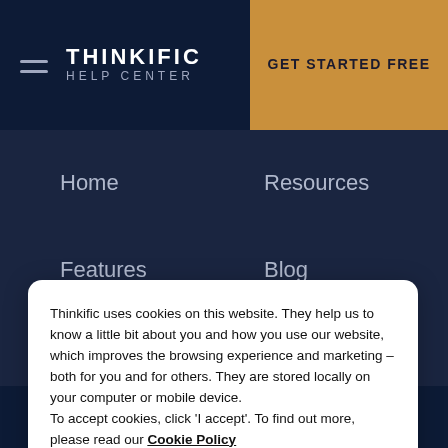THINKIFIC HELP CENTER
GET STARTED FREE
Home
Resources
Features
Blog
Take a tour
Training site
Thinkific uses cookies on this website. They help us to know a little bit about you and how you use our website, which improves the browsing experience and marketing – both for you and for others. They are stored locally on your computer or mobile device.
To accept cookies, click 'I accept'. To find out more, please read our Cookie Policy
I ACCEPT
YouTube